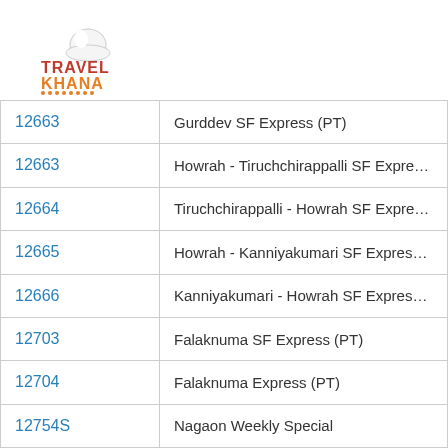[Figure (logo): Travel Khana logo with chef hat icon, orange and dark red text]
| Train Number | Train Name |
| --- | --- |
| 12663 | Howrah - Tiruchchirappalli SF Express (PT) |
| 12664 | Tiruchchirappalli - Howrah SF Express (PT) |
| 12665 | Howrah - Kanniyakumari SF Express (PT) |
| 12666 | Kanniyakumari - Howrah SF Express (PT) |
| 12703 | Falaknuma SF Express (PT) |
| 12704 | Falaknuma Express (PT) |
| 12754S | Nagaon Weekly Special |
| 12773 | Shalimar - Secunderabad AC Superfast Expre |
| 12774 | Secunderabad - Shalimar AC SuperFast Expr |